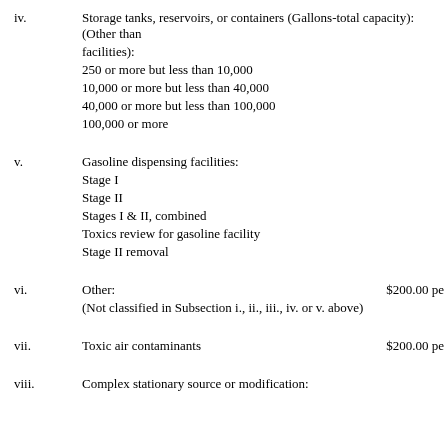iv. Storage tanks, reservoirs, or containers (Gallons-total capacity): (Other than facilities):
250 or more but less than 10,000
10,000 or more but less than 40,000
40,000 or more but less than 100,000
100,000 or more
v. Gasoline dispensing facilities:
Stage I
Stage II
Stages I & II, combined
Toxics review for gasoline facility
Stage II removal
vi. Other: $200.00 pe
(Not classified in Subsection i., ii., iii., iv. or v. above)
vii. Toxic air contaminants $200.00 pe
viii. Complex stationary source or modification: